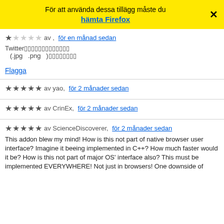För att använda dessa tillägg måste du hämta Firefox
★ ☆ ☆ ☆ ☆ av , för en månad sedan
Twitter□□□□□□□□□□□□□
(.jpg .png )□□□□□□□□
Flagga
★ ★ ★ ★ ★ av yao, för 2 månader sedan
★ ★ ★ ★ ★ av CrinEx, för 2 månader sedan
★ ★ ★ ★ ★ av ScienceDiscoverer, för 2 månader sedan
This addon blew my mind! How is this not part of native browser user interface? Imagine it beeing implemented in C++? How much faster would it be? How is this not part of major OS' interface also? This must be implemented EVERYWHERE! Not just in browsers! One downside of